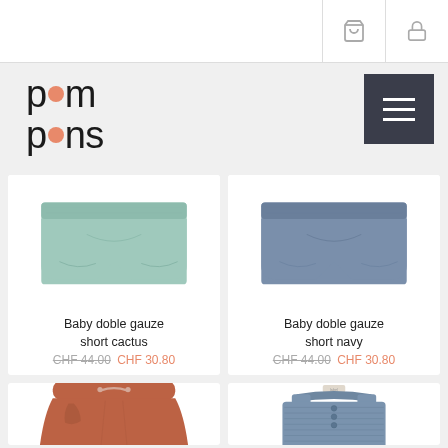pom pons - navigation bar with cart and lock icons
[Figure (logo): Pom pons logo with pink dot replacing the 'o' in pom and pons]
[Figure (other): Dark hamburger menu button with three white lines]
[Figure (photo): Baby double gauze short in mint/cactus color]
Baby doble gauze short cactus
CHF 44.00 CHF 30.80
[Figure (photo): Baby double gauze short in navy/blue color]
Baby doble gauze short navy
CHF 44.00 CHF 30.80
[Figure (photo): Rust/terracotta colored baby skirt with drawstring]
[Figure (photo): Blue ribbed sleeveless baby top/dress with buttons]